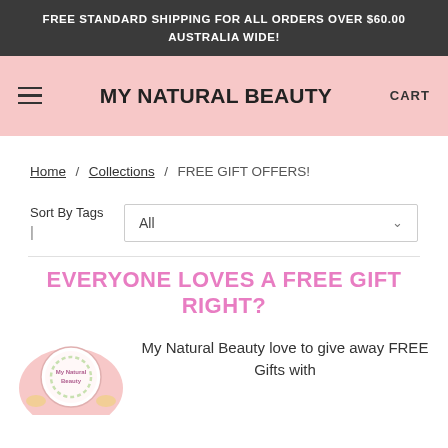FREE STANDARD SHIPPING FOR ALL ORDERS OVER $60.00 AUSTRALIA WIDE!
MY NATURAL BEAUTY
Home / Collections / FREE GIFT OFFERS!
Sort By Tags | All
EVERYONE LOVES A FREE GIFT RIGHT?
My Natural Beauty love to give away FREE Gifts with